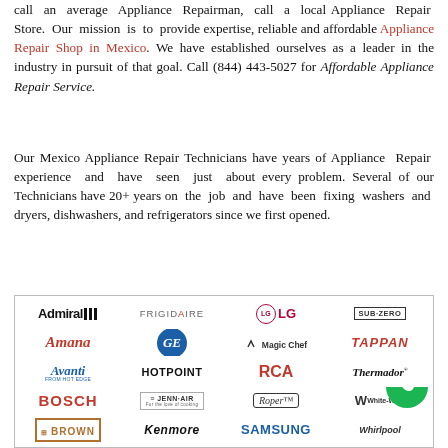call an average Appliance Repairman, call a local Appliance Repair Store. Our mission is to provide expertise, reliable and affordable Appliance Repair Shop in Mexico. We have established ourselves as a leader in the industry in pursuit of that goal. Call (844) 443-5027 for Affordable Appliance Repair Service.
Our Mexico Appliance Repair Technicians have years of Appliance Repair experience and have seen just about every problem. Several of our Technicians have 20+ years on the job and have been fixing washers and dryers, dishwashers, and refrigerators since we first opened.
[Figure (illustration): Grid of appliance brand logos including Admiral, Frigidaire, LG, Sub-Zero, Amana, GE, Magic Chef, Tappan, Avanti, Hotpoint, RCA, Thermador, Bosch, Jenn-Air, Roper, White-Westinghouse, Brown, Kenmore, Samsung, Whirlpool]